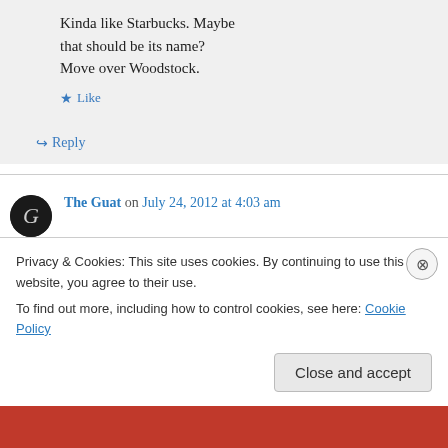Kinda like Starbucks. Maybe that should be its name? Move over Woodstock.
Like
Reply
The Guat on July 24, 2012 at 4:03 am
I love your photo essay. So jealous of this Lame
Privacy & Cookies: This site uses cookies. By continuing to use this website, you agree to their use. To find out more, including how to control cookies, see here: Cookie Policy
Close and accept